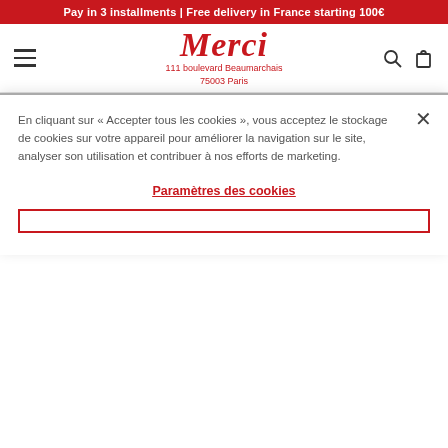Pay in 3 installments | Free delivery in France starting 100€
[Figure (logo): Merci store logo with address: 111 boulevard Beaumarchais, 75003 Paris]
Duvet covers – Limited Editions
100% washed linen. Cultivated in France and Belgium
[Figure (photo): Horizontal strip showing duvet covers in dark and light shades with vertical stripe dividers]
En cliquant sur « Accepter tous les cookies », vous acceptez le stockage de cookies sur votre appareil pour améliorer la navigation sur le site, analyser son utilisation et contribuer à nos efforts de marketing.
Paramètres des cookies